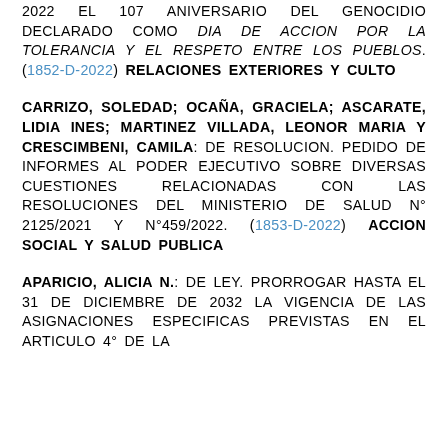2022 EL 107 ANIVERSARIO DEL GENOCIDIO DECLARADO COMO DIA DE ACCION POR LA TOLERANCIA Y EL RESPETO ENTRE LOS PUEBLOS. (1852-D-2022) RELACIONES EXTERIORES Y CULTO
CARRIZO, SOLEDAD; OCAÑA, GRACIELA; ASCARATE, LIDIA INES; MARTINEZ VILLADA, LEONOR MARIA Y CRESCIMBENI, CAMILA: DE RESOLUCION. PEDIDO DE INFORMES AL PODER EJECUTIVO SOBRE DIVERSAS CUESTIONES RELACIONADAS CON LAS RESOLUCIONES DEL MINISTERIO DE SALUD N° 2125/2021 Y N°459/2022. (1853-D-2022) ACCION SOCIAL Y SALUD PUBLICA
APARICIO, ALICIA N.: DE LEY. PRORROGAR HASTA EL 31 DE DICIEMBRE DE 2032 LA VIGENCIA DE LAS ASIGNACIONES ESPECIFICAS PREVISTAS EN EL ARTICULO 4° DE LA